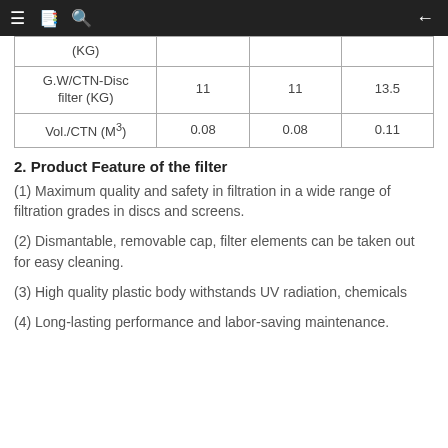|  |  |  |  |
| --- | --- | --- | --- |
| (KG) |  |  |  |
| G.W/CTN-Disc filter (KG) | 11 | 11 | 13.5 |
| Vol./CTN (M³) | 0.08 | 0.08 | 0.11 |
2. Product Feature of the filter
(1) Maximum quality and safety in filtration in a wide range of filtration grades in discs and screens.
(2) Dismantable, removable cap, filter elements can be taken out for easy cleaning.
(3) High quality plastic body withstands UV radiation, chemicals
(4) Long-lasting performance and labor-saving maintenance.